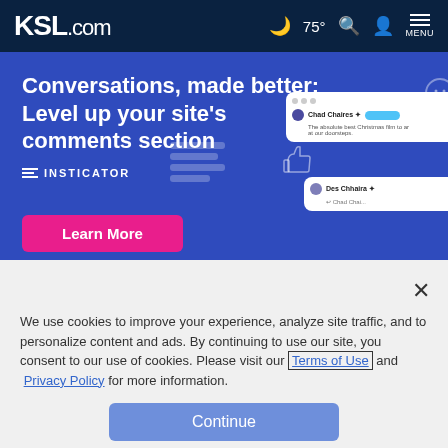KSL.com  🌙 75° 🔍 👤 MENU
[Figure (screenshot): Insticator advertisement banner with blue background reading 'Conversations, made better: Level up your site's comments section' with INSTICATOR logo, a pink 'Learn More' button, and a UI mockup showing comment threads on the right side.]
Cookie Notice
We use cookies to improve your experience, analyze site traffic, and to personalize content and ads. By continuing to use our site, you consent to our use of cookies. Please visit our Terms of Use and  Privacy Policy for more information.
Continue